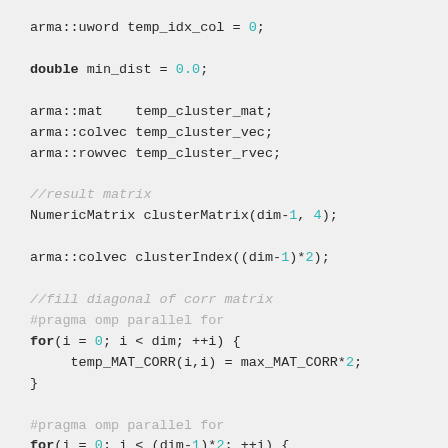[Figure (screenshot): C++ source code snippet showing variable declarations, result matrix initialization, and two parallel for loops using OpenMP pragmas, with syntax highlighting: keywords in bold dark, numeric literals in teal, comments in gray italic.]